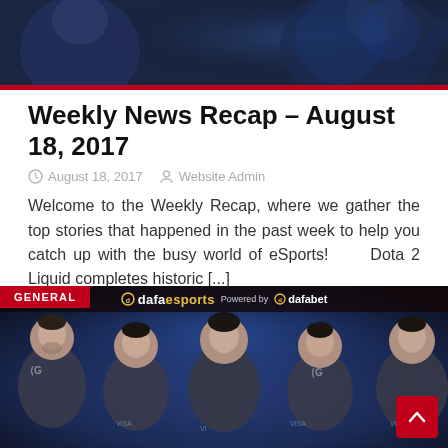[Figure (photo): Top banner with dark blue fantasy/esports game scene with character silhouettes, red horizontal bar at bottom]
Weekly News Recap – August 18, 2017
August 18, 2017   Website Admin
Welcome to the Weekly Recap, where we gather the top stories that happened in the past week to help you catch up with the busy world of eSports!      Dota 2 Liquid completes historic [...]
[Figure (photo): GENERAL banner with dafaesports Powered by dafabet branding, five esports players in dark jerseys against blue background, scroll-to-top button at bottom right]